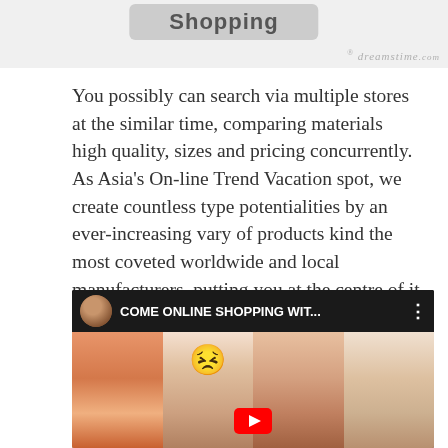[Figure (screenshot): Top portion of a shopping-related image with a gray button labeled 'Shopping' and a Dreamstime.com watermark in the bottom right]
You possibly can search via multiple stores at the similar time, comparing materials high quality, sizes and pricing concurrently. As Asia's On-line Trend Vacation spot, we create countless type potentialities by an ever-increasing vary of products kind the most coveted worldwide and local manufacturers, putting you at the centre of it all.
[Figure (screenshot): YouTube video thumbnail showing four women in summer outfits with title 'COME ONLINE SHOPPING WIT...' and a YouTube play button at the bottom]